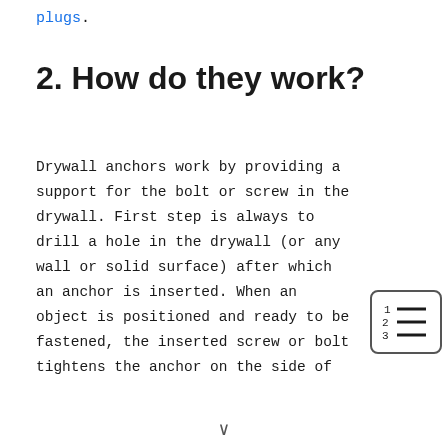plugs.
2. How do they work?
Drywall anchors work by providing a support for the bolt or screw in the drywall. First step is always to drill a hole in the drywall (or any wall or solid surface) after which an anchor is inserted. When an object is positioned and ready to be fastened, the inserted screw or bolt tightens the anchor on the side of
[Figure (other): Table of contents icon showing numbered list lines]